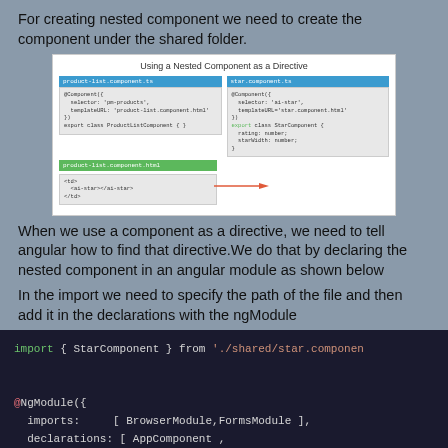For creating nested component we need to create the component under the shared folder.
[Figure (screenshot): Diagram titled 'Using a Nested Component as a Directive' showing two TypeScript files (product-list.component.ts and star.component.ts) with code, and an HTML template file product-list.component.html with ai-star directive usage. An arrow connects them.]
When we use a component as a directive, we need to tell angular how to find that directive.We do that by declaring the nested component in an angular module as shown below
In the import we need to specify the path of the file and then add it in the declarations with the ngModule
[Figure (screenshot): Dark code editor screenshot showing: import { StarComponent } from './shared/star.component'; and @NgModule({ imports: [ BrowserModule,FormsModule ], declarations: [ AppComponent , UserComponent,]